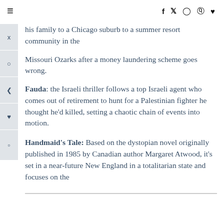≡  f  𝕏  ⊙  ⊗  ♥
his family to a Chicago suburb to a summer resort community in the Missouri Ozarks after a money laundering scheme goes wrong.
Fauda: the Israeli thriller follows a top Israeli agent who comes out of retirement to hunt for a Palestinian fighter he thought he'd killed, setting a chaotic chain of events into motion.
Handmaid's Tale: Based on the dystopian novel originally published in 1985 by Canadian author Margaret Atwood, it's set in a near-future New England in a totalitarian state and focuses on the journey of the handmaid Offred.